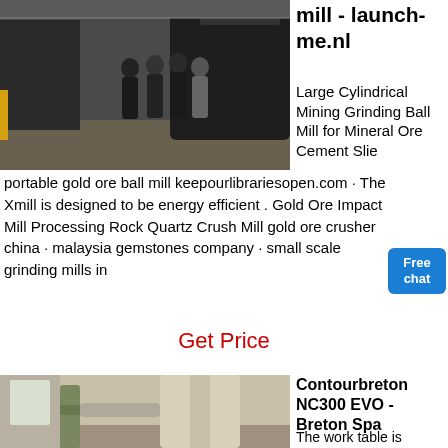[Figure (photo): People standing in a large industrial factory/warehouse with heavy machinery and equipment in the background.]
mill - launch-me.nl
Large Cylindrical Mining Grinding Ball Mill for Mineral Ore Cement Slie
portable gold ore ball mill keepourlibrariesopen.com · The Xmill is designed to be energy efficient . Gold Ore Impact Mill Processing Rock Quartz Crush Mill gold ore crusher china · malaysia gemstones company · small scale grinding mills in
Get Price
[Figure (photo): Industrial milling or grinding machinery with pipes and ducts in a facility.]
Contourbreton NC300 EVO - Breton Spa
The work table is